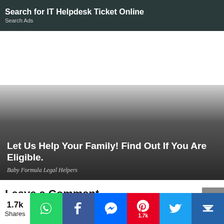[Figure (screenshot): Ad banner at top: dark background with bold white text (cut off) and 'Search Ads' subtitle]
[Figure (screenshot): Ad banner: gradient dark image with white bold text 'Let Us Help Your Family! Find Out If You Are Eligible.' and italic subtitle 'Baby Formula Legal Helpers']
Leave a Comment
[Figure (infographic): Social share bar with 1.7k Shares count and colored buttons: WhatsApp, Facebook, Messenger, Pinterest (1.7k), Twitter, More]